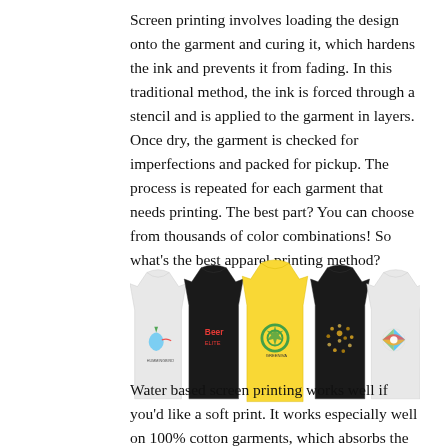Screen printing involves loading the design onto the garment and curing it, which hardens the ink and prevents it from fading. In this traditional method, the ink is forced through a stencil and is applied to the garment in layers. Once dry, the garment is checked for imperfections and packed for pickup. The process is repeated for each garment that needs printing. The best part? You can choose from thousands of color combinations! So what's the best apparel printing method?
[Figure (photo): Five t-shirts displayed side by side with various printed logos: a white t-shirt with a hummingbird logo, a black t-shirt with a red logo, a yellow t-shirt with a green circular logo, a black t-shirt with a dotted circular logo, and a white t-shirt with a colorful circular logo.]
Water based screen printing works well if you'd like a soft print. It works especially well on 100% cotton garments, which absorbs the ink really well...